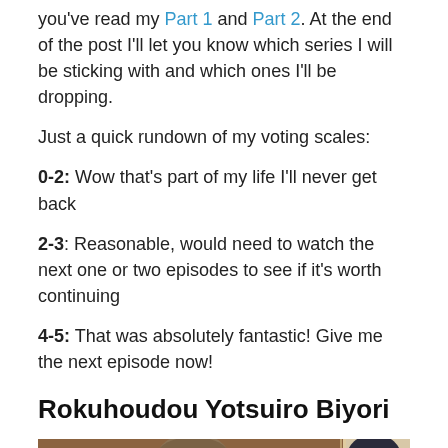you've read my Part 1 and Part 2. At the end of the post I'll let you know which series I will be sticking with and which ones I'll be dropping.
Just a quick rundown of my voting scales:
0-2: Wow that's part of my life I'll never get back
2-3: Reasonable, would need to watch the next one or two episodes to see if it's worth continuing
4-5: That was absolutely fantastic! Give me the next episode now!
Rokuhoudou Yotsuiro Biyori
[Figure (photo): Anime screenshot showing two characters: a person with glasses and brown hair on the left, and a person with dark hair on the right.]